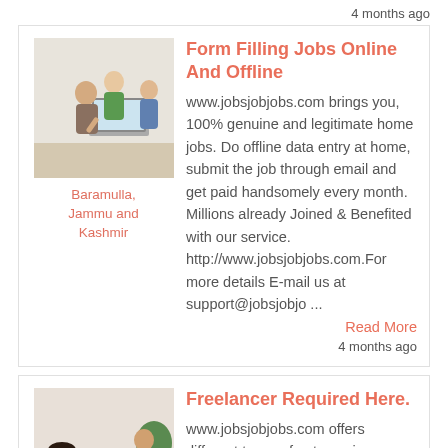4 months ago
[Figure (photo): Two women and a man looking at a laptop computer]
Baramulla, Jammu and Kashmir
Form Filling Jobs Online And Offline
www.jobsjobjobs.com brings you, 100% genuine and legitimate home jobs. Do offline data entry at home, submit the job through email and get paid handsomely every month. Millions already Joined & Benefited with our service. http://www.jobsjobjobs.com.For more details E-mail us at support@jobsjobjo ...
Read More
4 months ago
[Figure (photo): Woman lying on couch with laptop, another person in background]
Freelancer Required Here.
www.jobsjobjobs.com offers different types of outsourcing projects. Online data entry is one of the best home job for...